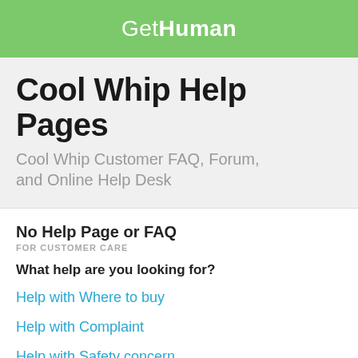GetHuman
Cool Whip Help Pages
Cool Whip Customer FAQ, Forum, and Online Help Desk
No Help Page or FAQ
FOR CUSTOMER CARE
What help are you looking for?
Help with Where to buy
Help with Complaint
Help with Safety concern
Help with Returns